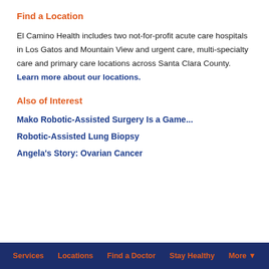Find a Location
El Camino Health includes two not-for-profit acute care hospitals in Los Gatos and Mountain View and urgent care, multi-specialty care and primary care locations across Santa Clara County. Learn more about our locations.
Also of Interest
Mako Robotic-Assisted Surgery Is a Game...
Robotic-Assisted Lung Biopsy
Angela's Story: Ovarian Cancer
Services   Locations   Find a Doctor   Stay Healthy   More